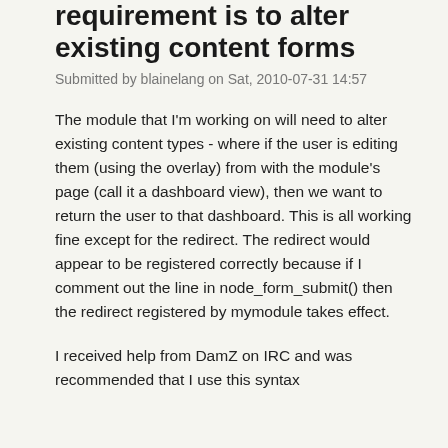requirement is to alter existing content forms
Submitted by blainelang on Sat, 2010-07-31 14:57
The module that I'm working on will need to alter existing content types - where if the user is editing them (using the overlay) from with the module's page (call it a dashboard view), then we want to return the user to that dashboard. This is all working fine except for the redirect. The redirect would appear to be registered correctly because if I comment out the line in node_form_submit() then the redirect registered by mymodule takes effect.
I received help from DamZ on IRC and was recommended that I use this syntax